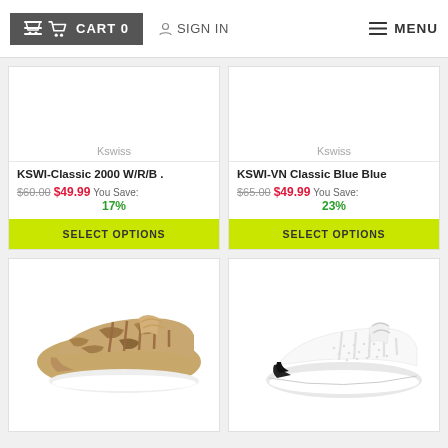CART 0   SIGN IN   MENU
Kswiss
KSWI-Classic 2000 W/R/B .
$60.00  $49.99  You Save: 17%
SELECT OPTIONS
Kswiss
KSWI-VN Classic Blue Blue
$65.00  $49.99  You Save: 23%
SELECT OPTIONS
[Figure (photo): Tan/camo K-Swiss sneaker with brown stripes]
[Figure (photo): White K-Swiss sneaker with black heel accent]